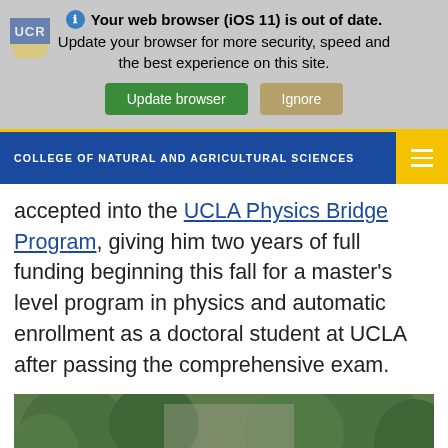Your web browser (iOS 11) is out of date. Update your browser for more security, speed and the best experience on this site.
COLLEGE OF NATURAL AND AGRICULTURAL SCIENCES
accepted into the UCLA Physics Bridge Program, giving him two years of full funding beginning this fall for a master's level program in physics and automatic enrollment as a doctoral student at UCLA after passing the comprehensive exam.
[Figure (photo): Portrait photo of a person outdoors with green trees/bushes in the background]